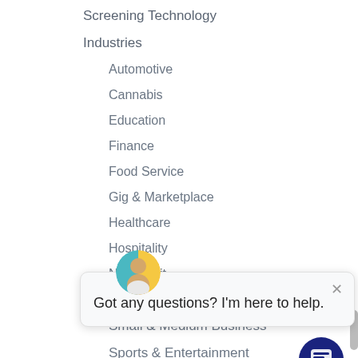Screening Technology
Industries
Automotive
Cannabis
Education
Finance
Food Service
Gig & Marketplace
Healthcare
Hospitality
Non-Profit
Retail
Small & Medium Business
Sports & Entertainment
Food Service
[Figure (illustration): Chat widget overlay with avatar photo of a person, close button, and text 'Got any questions? I'm here to help.' along with a dark blue chat bubble button in the bottom right corner.]